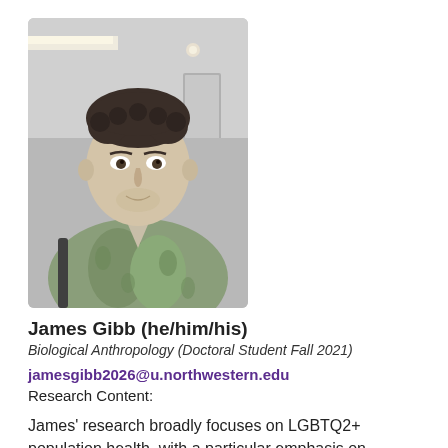[Figure (photo): Headshot photo of James Gibb, a young man with curly hair wearing a floral/patterned open-collar shirt, indoors with lights and ceiling visible in background]
James Gibb (he/him/his)
Biological Anthropology (Doctoral Student Fall 2021)
jamesgibb2026@u.northwestern.edu
Research Content:
James' research broadly focuses on LGBTQ2+ population health, with a particular emphasis on undergraduate minority stress indications